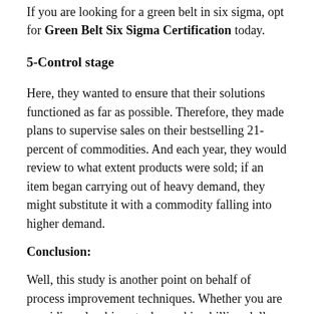If you are looking for a green belt in six sigma, opt for Green Belt Six Sigma Certification today.
5-Control stage
Here, they wanted to ensure that their solutions functioned as far as possible. Therefore, they made plans to supervise sales on their bestselling 21-percent of commodities. And each year, they would review to what extent products were sold; if an item began carrying out of heavy demand, they might substitute it with a commodity falling into higher demand.
Conclusion:
Well, this study is another point on behalf of process improvement techniques. Whether you are providing plumbing stocks, making billion-dollar